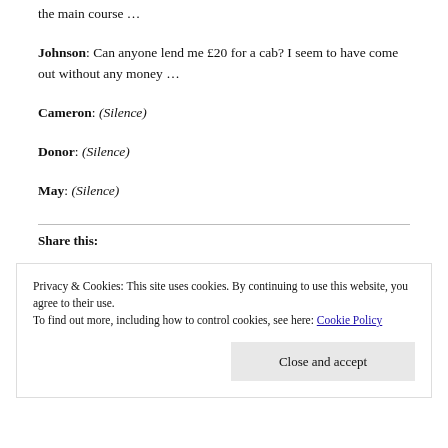the main course …
Johnson: Can anyone lend me £20 for a cab? I seem to have come out without any money …
Cameron: (Silence)
Donor: (Silence)
May: (Silence)
Share this:
Privacy & Cookies: This site uses cookies. By continuing to use this website, you agree to their use. To find out more, including how to control cookies, see here: Cookie Policy